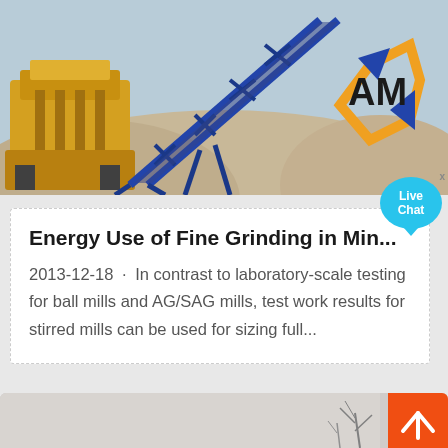[Figure (photo): Industrial mining conveyor belt and crusher equipment (yellow and blue machinery) on a gravel/rock background, with an orange and blue hexagon logo with letters 'AM' on the right side]
Energy Use of Fine Grinding in Min...
2013-12-18 · In contrast to laboratory-scale testing for ball mills and AG/SAG mills, test work results for stirred mills can be used for sizing full...
[Figure (photo): Partially visible outdoor scene with light gray sky and some bare tree branches at bottom right, with an orange back-to-top arrow button on the right]